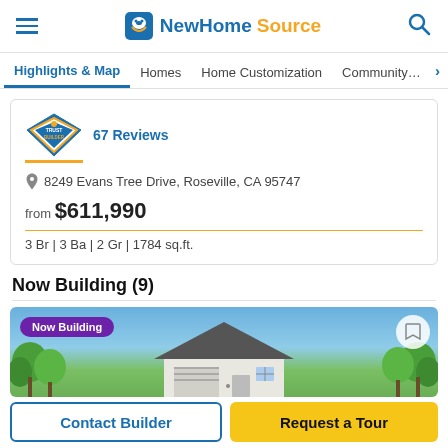NewHomeSource - Highlights & Map navigation
67 Reviews
8249 Evans Tree Drive, Roseville, CA 95747
from $611,990
3 Br | 3 Ba | 2 Gr | 1784 sq.ft.
Now Building (9)
[Figure (photo): House exterior rendering showing a white/gray house with peaked roof against blue sky and green trees. Purple 'Now Building' badge overlaid in top left.]
Contact Builder
Request a Tour